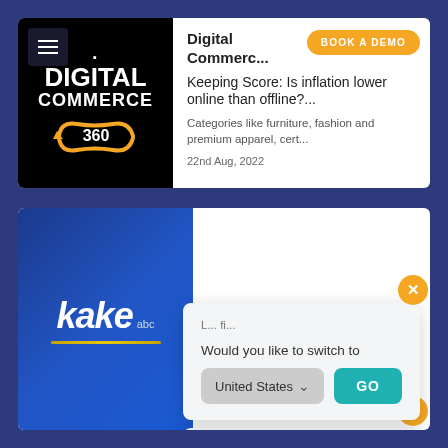[Figure (screenshot): Digital Commerce 360 logo on black background with hamburger menu icon]
Digital Commerc...
Keeping Score: Is inflation lower online than offline?...
Categories like furniture, fashion and premium apparel, cert...
22nd Aug, 2022
[Figure (logo): KAKE ABC logo on blue gradient background]
You agree to our cookie policy by using this website. More Info
GOT IT
Would you like to switch to
United States
GO